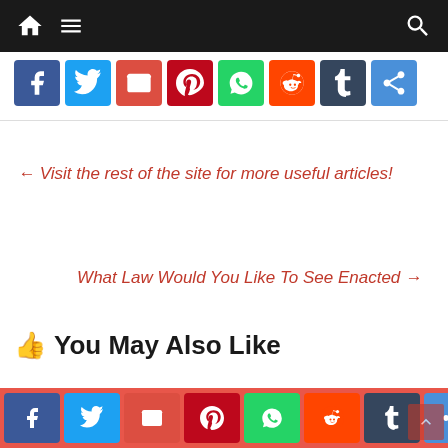[Figure (screenshot): Website navigation bar with home icon, hamburger menu, and search icon on dark background]
[Figure (screenshot): Social share buttons: Facebook, Twitter, Email, Pinterest, WhatsApp, Reddit, Tumblr, More]
← Visit the rest of the site for more useful articles!
What Law Would You Like To See Enacted →
You May Also Like
[Figure (screenshot): Bottom social share bar with Facebook, Twitter, Email, Pinterest, WhatsApp, Reddit, Tumblr, More buttons on salmon background]